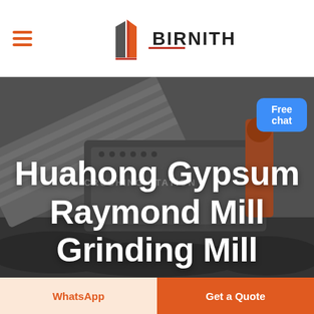[Figure (logo): BIRNITH company logo with orange/grey building icon and brand name in bold caps, hamburger menu icon on the left]
[Figure (photo): Industrial crushing station machinery with conveyor belts and large equipment, dark/grey industrial scene with coal/gravel]
Huahong Gypsum Raymond Mill Grinding Mill
[Figure (infographic): Blue Free chat button with customer service representative image above it]
WhatsApp
Get a Quote